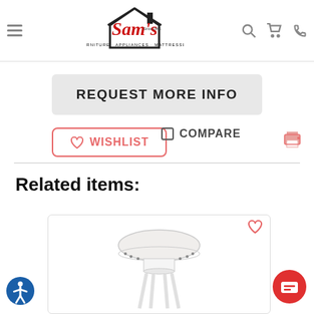[Figure (logo): Sam's Furniture Appliances Mattresses logo in red cursive with house icon]
REQUEST MORE INFO
WISHLIST
COMPARE
Related items:
[Figure (photo): White round bar stool with cushioned top and nailhead trim detail]